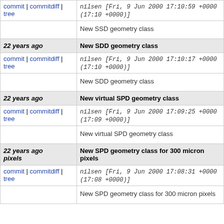commit | commitdiff | tree   nilsen [Fri, 9 Jun 2000 17:10:59 +0000 (17:10 +0000)]
New SSD geometry class
22 years ago   New SDD geometry class
commit | commitdiff | tree   nilsen [Fri, 9 Jun 2000 17:10:17 +0000 (17:10 +0000)]
New SDD geometry class
22 years ago   New virtual SPD geometry class
commit | commitdiff | tree   nilsen [Fri, 9 Jun 2000 17:09:25 +0000 (17:09 +0000)]
New virtual SPD geometry class
22 years ago pixels   New SPD geometry class for 300 micron pixels
commit | commitdiff | tree   nilsen [Fri, 9 Jun 2000 17:08:31 +0000 (17:08 +0000)]
New SPD geometry class for 300 micron pixels